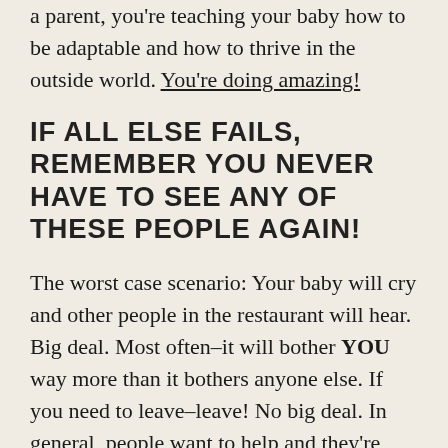a parent, you're teaching your baby how to be adaptable and how to thrive in the outside world. You're doing amazing!
IF ALL ELSE FAILS, REMEMBER YOU NEVER HAVE TO SEE ANY OF THESE PEOPLE AGAIN!
The worst case scenario: Your baby will cry and other people in the restaurant will hear. Big deal. Most often–it will bother YOU way more than it bothers anyone else. If you need to leave–leave! No big deal. In general, people want to help and they're understanding. If